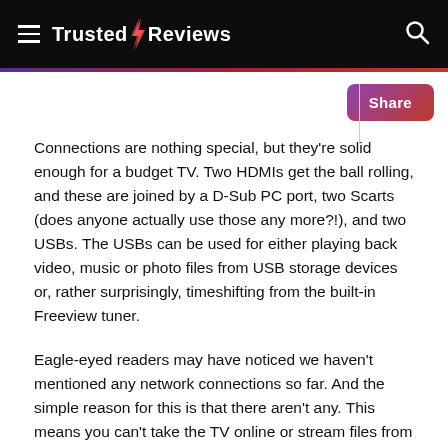Trusted Reviews
Connections are nothing special, but they're solid enough for a budget TV. Two HDMIs get the ball rolling, and these are joined by a D-Sub PC port, two Scarts (does anyone actually use those any more?!), and two USBs. The USBs can be used for either playing back video, music or photo files from USB storage devices or, rather surprisingly, timeshifting from the built-in Freeview tuner.
Eagle-eyed readers may have noticed we haven't mentioned any network connections so far. And the simple reason for this is that there aren't any. This means you can't take the TV online or stream files from a PC – fair enough for such a cheap TV. Harder to swallow, though, is the fact that no LAN port also means no HD tuner. Yes, the the right to an Ultra HD TV are not entirely to...